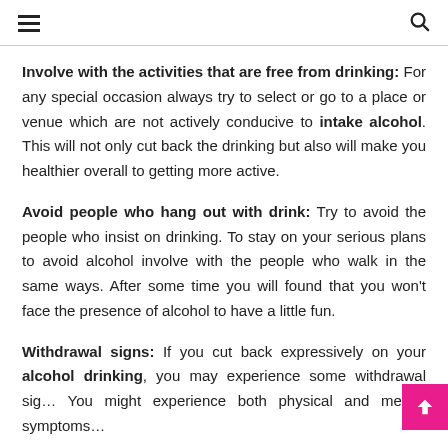≡  🔍
Involve with the activities that are free from drinking: For any special occasion always try to select or go to a place or venue which are not actively conducive to intake alcohol. This will not only cut back the drinking but also will make you healthier overall to getting more active.
Avoid people who hang out with drink: Try to avoid the people who insist on drinking. To stay on your serious plans to avoid alcohol involve with the people who walk in the same ways. After some time you will found that you won't face the presence of alcohol to have a little fun.
Withdrawal signs: If you cut back expressively on your alcohol drinking, you may experience some withdrawal sig… You might experience both physical and mental symptoms…